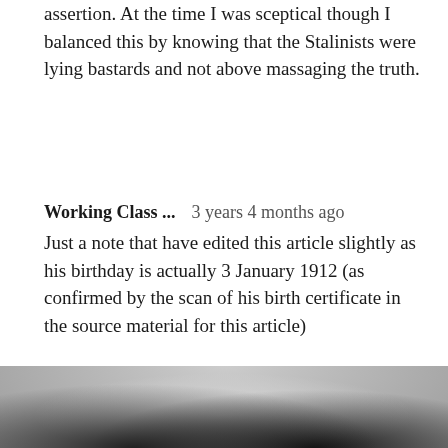assertion. At the time I was sceptical though I balanced this by knowing that the Stalinists were lying bastards and not above massaging the truth.
Working Class ...   3 years 4 months ago
Just a note that have edited this article slightly as his birthday is actually 3 January 1912 (as confirmed by the scan of his birth certificate in the source material for this article)
[Figure (photo): Black and white photograph, partially visible at bottom of page, showing the top of a person's head with dark hair against a light background.]